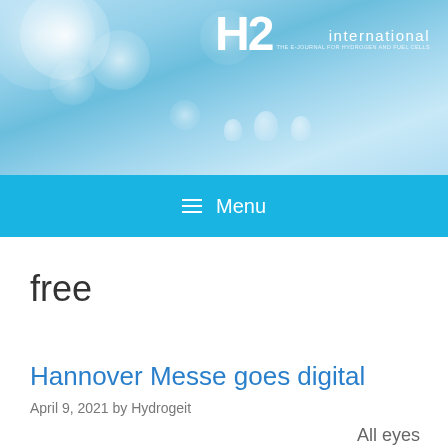[Figure (illustration): H2 International magazine header banner with blue bokeh/bubble background and H2 international logo in top right]
≡ Menu
free
Hannover Messe goes digital
April 9, 2021 by Hydrogeit
All eyes